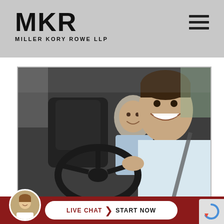MKR MILLER KORY ROWE LLP
[Figure (photo): Photo of a smiling young man driving a car with a seatbelt on, and a passenger visible in the back seat, also smiling. Interior of car visible.]
LIVE CHAT  START NOW